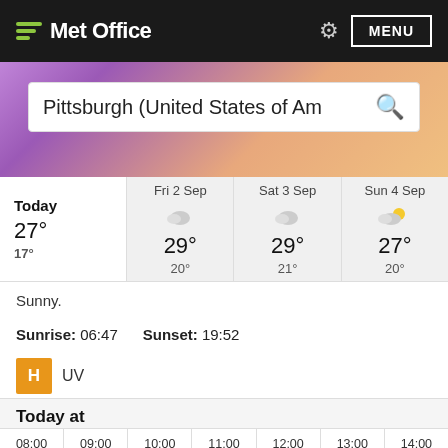Met Office
[Figure (screenshot): Met Office weather website screenshot showing Pittsburgh (United States of America) weather with search bar, forecast strip for Today (27°/17°), Fri 2 Sep (29°/20°), Sat 3 Sep (29°/21°), Sun 4 Sep (27°/20°), description 'Sunny.', Sunrise: 06:47, Sunset: 19:52, UV: H, and hourly forecast starting from 08:00 to 14:00]
Pittsburgh (United States of Am
| Day | High | Low |
| --- | --- | --- |
| Today | 27° | 17° |
| Fri 2 Sep | 29° | 20° |
| Sat 3 Sep | 29° | 21° |
| Sun 4 Sep | 27° | 20° |
Sunny.
Sunrise: 06:47   Sunset: 19:52
H  UV
Today at
08:00   09:00   10:00   11:00   12:00   13:00   14:00